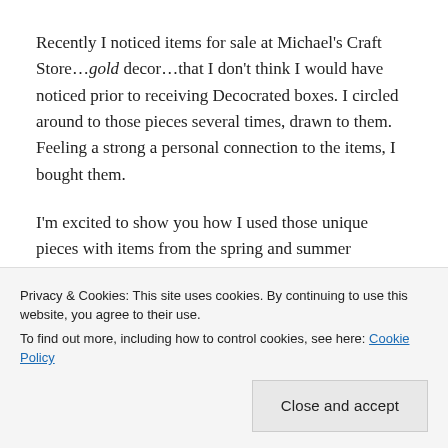Recently I noticed items for sale at Michael's Craft Store…gold decor…that I don't think I would have noticed prior to receiving Decocrated boxes. I circled around to those pieces several times, drawn to them. Feeling a strong a personal connection to the items, I bought them.
I'm excited to show you how I used those unique pieces with items from the spring and summer Decocrated boxes to create personal vignettes that tell my story.
vintage wooden chair near my armoire. The gold tray and
Privacy & Cookies: This site uses cookies. By continuing to use this website, you agree to their use.
To find out more, including how to control cookies, see here: Cookie Policy